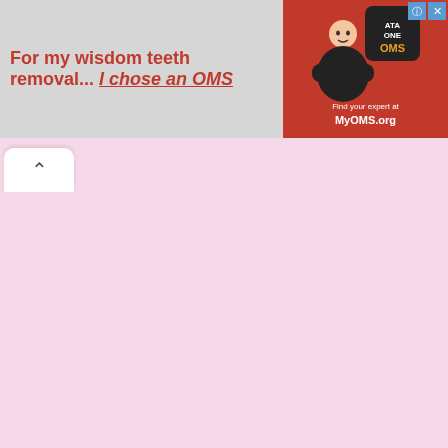[Figure (infographic): Advertisement banner for MyOMS.org. Text reads 'For my wisdom teeth removal... I chose an OMS' in red/orange font. Right side has red background with OMS logo, a man in black t-shirt, and text 'Find your expert at MyOMS.org'. Close (X) and info (i) buttons in blue at top right.]
[Figure (screenshot): A white rounded tab/button with an upward-pointing chevron arrow (^), appearing as a UI collapse/expand control below the banner ad.]
[Figure (other): Pink/light rose colored empty content area filling the lower portion of the page.]